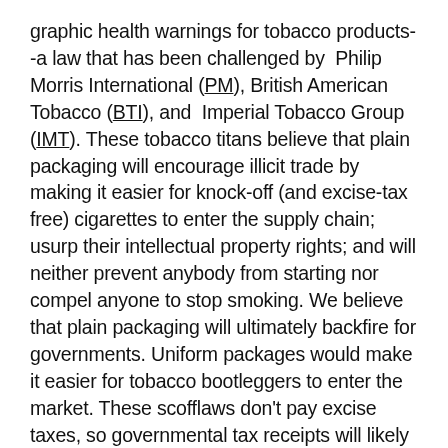graphic health warnings for tobacco products--a law that has been challenged by Philip Morris International (PM), British American Tobacco (BTI), and Imperial Tobacco Group (IMT). These tobacco titans believe that plain packaging will encourage illicit trade by making it easier for knock-off (and excise-tax free) cigarettes to enter the supply chain; usurp their intellectual property rights; and will neither prevent anybody from starting nor compel anyone to stop smoking. We believe that plain packaging will ultimately backfire for governments. Uniform packages would make it easier for tobacco bootleggers to enter the market. These scofflaws don't pay excise taxes, so governmental tax receipts will likely fall faster than the rate of smoking cessation.
We believe this is a case of "better the devil you know," meaning, tobacco bootleggers are frequently associated